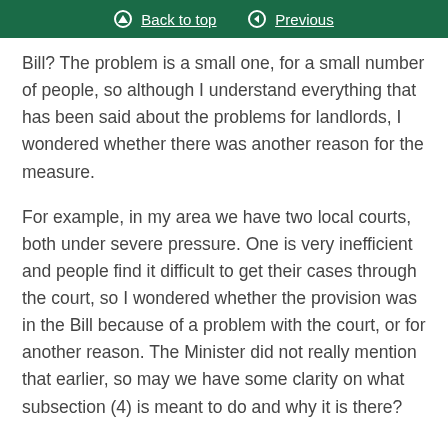Back to top   Previous
Bill? The problem is a small one, for a small number of people, so although I understand everything that has been said about the problems for landlords, I wondered whether there was another reason for the measure.
For example, in my area we have two local courts, both under severe pressure. One is very inefficient and people find it difficult to get their cases through the court, so I wondered whether the provision was in the Bill because of a problem with the court, or for another reason. The Minister did not really mention that earlier, so may we have some clarity on what subsection (4) is meant to do and why it is there?